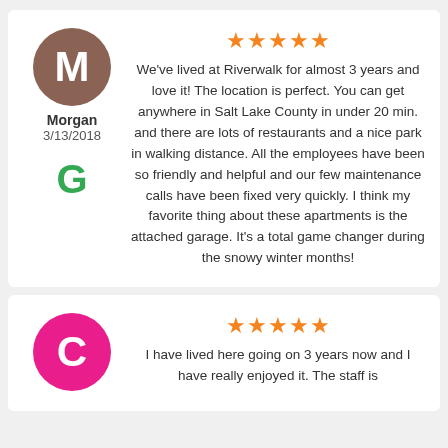Morgan
3/13/2018
★★★★★
We've lived at Riverwalk for almost 3 years and love it! The location is perfect. You can get anywhere in Salt Lake County in under 20 min. and there are lots of restaurants and a nice park in walking distance. All the employees have been so friendly and helpful and our few maintenance calls have been fixed very quickly. I think my favorite thing about these apartments is the attached garage. It's a total game changer during the snowy winter months!
★★★★★
I have lived here going on 3 years now and I have really enjoyed it. The staff is